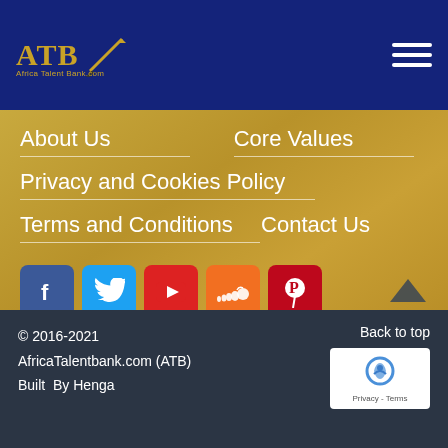[Figure (logo): ATB Africa Talent Bank logo with gold text and pencil icon on dark blue background]
About Us
Core Values
Privacy and Cookies Policy
Terms and Conditions
Contact Us
[Figure (infographic): Social media icons row: Facebook, Twitter, YouTube, SoundCloud, Pinterest]
© 2016-2021 AfricaTalentbank.com (ATB) Built By Henga
Back to top